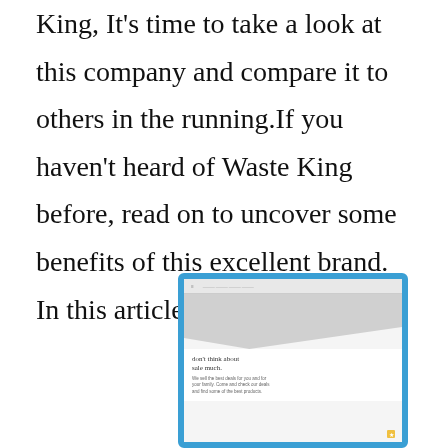King, It's time to take a look at this company and compare it to others in the running.If you haven't heard of Waste King before, read on to uncover some benefits of this excellent brand. In this article we will [...]
[Figure (screenshot): Screenshot of a tablet/website showing a hero image with gray diagonal design and text reading 'don't think about sale much.' with small body text below]